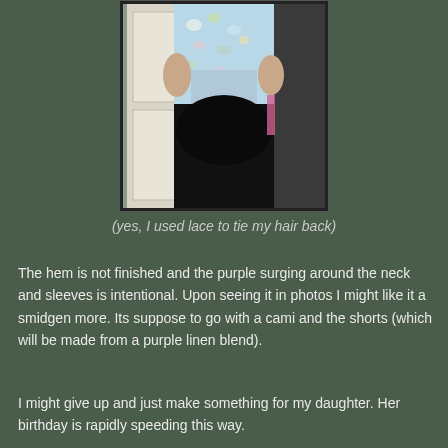[Figure (photo): A person wearing a floral light blue top and black skirt/pants, standing in front of a white door with hands on hips. The head is cropped out of the photo.]
(yes, I used lace to tie my hair back)
The hem is not finished and the purple surging around the neck and sleeves is intentional. Upon seeing it in photos I might like it a smidgen more. Its suppose to go with a cami and the shorts (which will be made from a purple linen blend).
I might give up and just make something for my daughter. Her birthday is rapidly speeding this way.